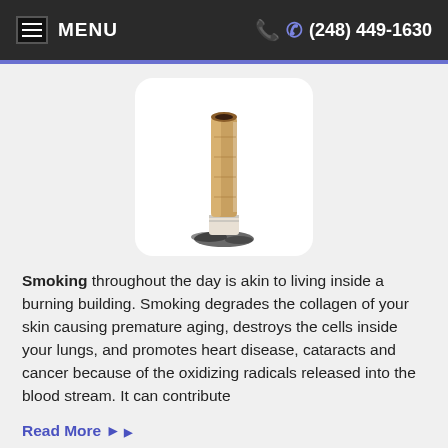MENU  (248) 449-1630
[Figure (photo): A stubbed-out cigarette butt pressed against a surface, with ash residue, on a white rounded-rectangle background.]
Smoking throughout the day is akin to living inside a burning building. Smoking degrades the collagen of your skin causing premature aging, destroys the cells inside your lungs, and promotes heart disease, cataracts and cancer because of the oxidizing radicals released into the blood stream. It can contribute
Read More ▶
Turn off the Television